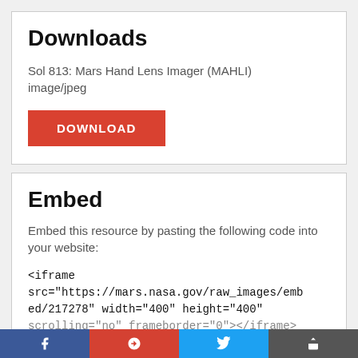Downloads
Sol 813: Mars Hand Lens Imager (MAHLI) image/jpeg
DOWNLOAD
Embed
Embed this resource by pasting the following code into your website:
<iframe src="https://mars.nasa.gov/raw_images/embed/217278" width="400" height="400" scrolling="no" frameborder="0"></iframe>